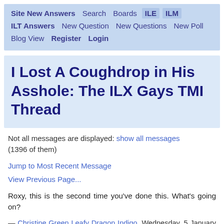Site New Answers  Search  Boards  ILE  ILM  ILT Answers  New Question  New Questions  New Poll  Blog View  Register  Login
I Lost A Coughdrop in His Asshole: The ILX Gays TMI Thread
Not all messages are displayed: show all messages (1396 of them)
Jump to Most Recent Message
View Previous Page...
Roxy, this is the second time you've done this. What's going on?
— Christine Green Leafy Dragon Indigo, Wednesday, 5 January 2011 02:28 (eleven years ago) link